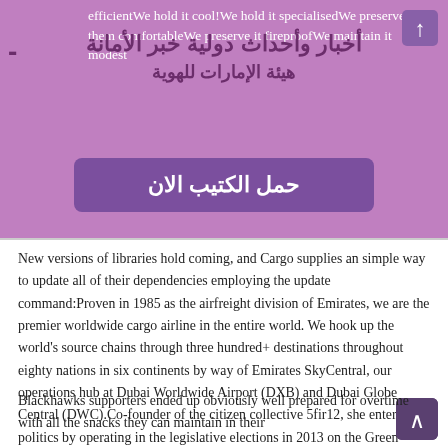efficient We hold it cool We hold it specialised We preserve them comfortable We preserve it fireproof We maintain it modest
أخبار وأحداث دولية خبر الأمانة
حمل الكتيب الان
New versions of libraries hold coming, and Cargo supplies an simple way to update all of their dependencies employing the update command:Proven in 1985 as the airfreight division of Emirates, we are the premier worldwide cargo airline in the entire world. We hook up the world's source chains through three hundred+ destinations throughout eighty nations in six continents by way of Emirates SkyCentral, our operations hub at Dubai Worldwide Airport (DXB) and Dubai Globe Central (DWC).Co-founder of the citizen collective 5fir12, she entered politics by operating in the legislative elections in 2013 on the Green Social gathering checklist in the North of Luxembourg.
Blackhawks supporters ended up obviously well prepared for overtime with all the snacks they can maintain in their